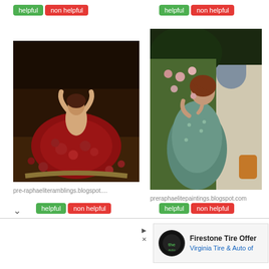[Figure (other): Helpful/Non helpful buttons top left]
[Figure (other): Helpful/Non helpful buttons top right]
[Figure (illustration): Pre-Raphaelite painting of a woman in red dress with arms raised, dark background, roses]
[Figure (illustration): Pre-Raphaelite painting of a woman in blue-green robe smelling roses in a garden]
pre-raphaeliteramblings.blogspot....
preraphaelitepaintings.blogspot.com
[Figure (other): Helpful/Non helpful buttons bottom left with chevron]
[Figure (other): Helpful/Non helpful buttons bottom right]
[Figure (other): Firestone Tire Offer advertisement - Virginia Tire & Auto of]